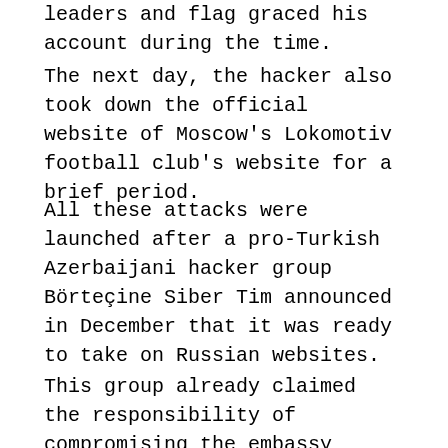leaders and flag graced his account during the time.
The next day, the hacker also took down the official website of Moscow's Lokomotiv football club's website for a brief period.
All these attacks were launched after a pro-Turkish Azerbaijani hacker group Börteçine Siber Tim announced in December that it was ready to take on Russian websites.
This group already claimed the responsibility of compromising the embassy website and numerous other Israeli websites including the Instagram account of Nikiforov, on its Facebook page.
This attack is the second of its kind against the Russian government by Börteçine Siber Tim.